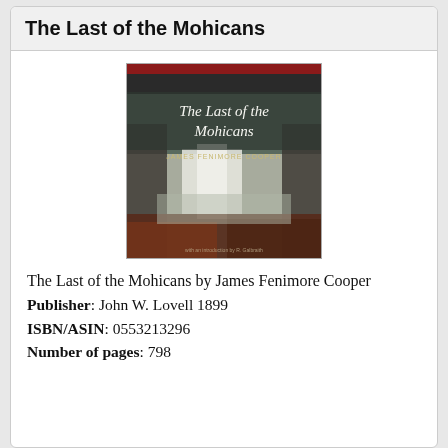The Last of the Mohicans
[Figure (photo): Book cover of 'The Last of the Mohicans' by James Fenimore Cooper, showing a waterfall landscape with red and dark tones, title text in white serif font, author name below title.]
The Last of the Mohicans by James Fenimore Cooper
Publisher: John W. Lovell 1899
ISBN/ASIN: 0553213296
Number of pages: 798